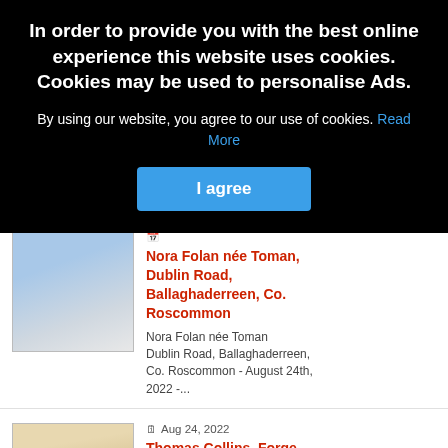[Figure (screenshot): Cookie consent overlay on a website showing obituary listings. The overlay has a black background with white bold text about cookie usage, a blue 'I agree' button, and a 'Read More' link. Behind the overlay are two obituary cards: one for Nora Folan née Toman of Ballaghaderreen, Co. Roscommon (Aug 24, 2022) and one for Thomas Collins, Forge Village, Carrowmore-Lacken, Ballina (Aug 24, 2022).]
In order to provide you with the best online experience this website uses cookies. Cookies may be used to personalise Ads.
By using our website, you agree to our use of cookies. Read More
I agree
Nora Folan née Toman, Dublin Road, Ballaghaderreen, Co. Roscommon
Nora Folan née Toman Dublin Road, Ballaghaderreen, Co. Roscommon - August 24th, 2022 -...
Thomas Collins, Forge Village, Carrowmore-Lacken, Ballina
Thomas Collins Forge Village, Carrowmore-Lacken, Ballina - peacefully at